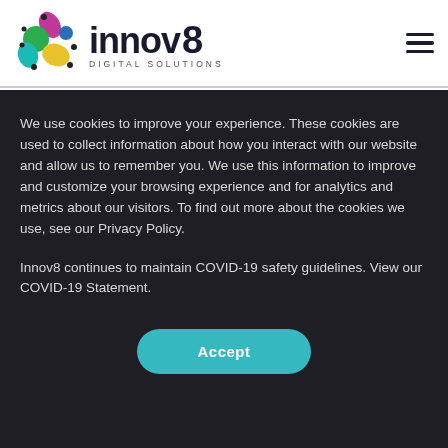[Figure (logo): Innov8 Digital Solutions logo with colorful leaf/dot shapes on the left and text 'innov8 DIGITAL SOLUTIONS' on the right]
We use cookies to improve your experience. These cookies are used to collect information about how you interact with our website and allow us to remember you. We use this information to improve and customize your browsing experience and for analytics and metrics about our visitors. To find out more about the cookies we use, see our Privacy Policy.
Innov8 continues to maintain COVID-19 safety guidelines. View our COVID-19 Statement.
Accept